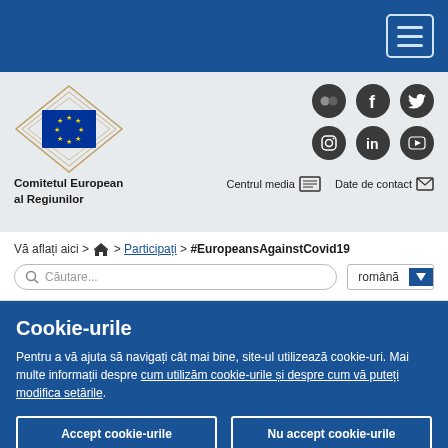Navigation header bar with hamburger menu
[Figure (logo): Comitetul European al Regiunilor logo with EU flag and decorative diamond shape]
Comitetul European al Regiunilor
[Figure (infographic): Social media icons: Flickr, Facebook, Twitter, Instagram, LinkedIn, YouTube]
Centrul media    Date de contact
Vă aflați aici > 🏠 > Participați > #EuropeansAgainstCovid19
Căutare...   română
Cookie-urile
Pentru a vă ajuta să navigați cât mai bine, site-ul utilizează cookie-uri. Mai multe informații despre cum utilizăm cookie-urile și despre cum vă puteți modifica setările.
Accept cookie-urile
Nu accept cookie-urile